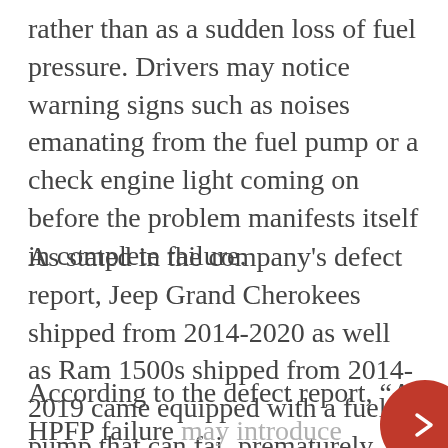rather than as a sudden loss of fuel pressure. Drivers may notice warning signs such as noises emanating from the fuel pump or a check engine light coming on before the problem manifests itself in complete failure.
As stated in the company's defect report, Jeep Grand Cherokees shipped from 2014-2020 as well as Ram 1500s shipped from 2014-2019 came equipped with a fuel pump that can fail prematurely.
According to the defect report, “A HPFP failure may introduce internally failed component debris into the fuel system potentially...